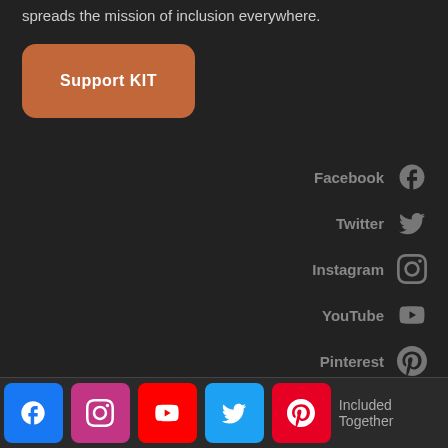spreads the mission of inclusion everywhere.
Support KIT
Facebook
Twitter
Instagram
YouTube
Pinterest
LinkedIn
Included Together